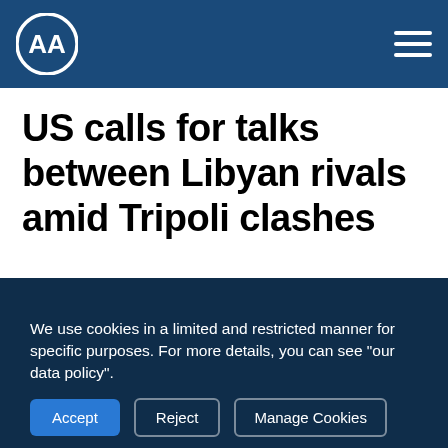AA (Anadolu Agency) logo and navigation menu
US calls for talks between Libyan rivals amid Tripoli clashes
[Figure (photo): A dark, moody landscape photograph showing mountain silhouettes with snow/glaciers against an overcast grey sky, reflected in water below]
We use cookies in a limited and restricted manner for specific purposes. For more details, you can see "our data policy".
Accept | Reject | Manage Cookies